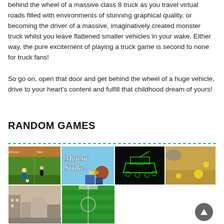behind the wheel of a massive class 8 truck as you travel virtual roads filled with environments of stunning graphical quality, or becoming the driver of a massive, imaginatively created monster truck whilst you leave flattened smaller vehicles in your wake. Either way, the pure excitement of playing a truck game is second to none for truck fans!
So go on, open that door and get behind the wheel of a huge vehicle, drive to your heart's content and fulfill that childhood dream of yours!
RANDOM GAMES
[Figure (screenshot): Grid of game thumbnails: soccer game, Meteor Strike!, tank wireframe game, desert game, city/cartoon game, green field game]